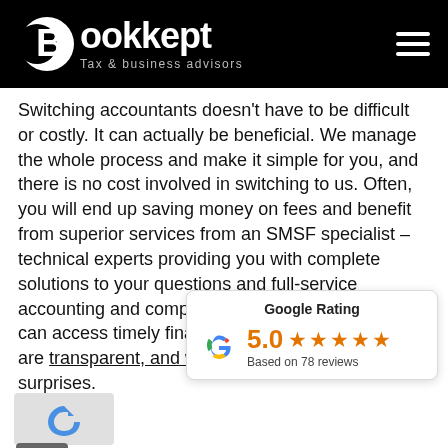Bookkept – Tax & business advisors
Switching accountants doesn't have to be difficult or costly. It can actually be beneficial. We manage the whole process and make it simple for you, and there is no cost involved in switching to us. Often, you will end up saving money on fees and benefit from superior services from an SMSF specialist – technical experts providing you with complete solutions to your questions and full-service accounting and compliance reporting where you can access timely financial information. Our fees are transparent, and we offer you a fixed fee. No surprises.
[Figure (infographic): Google Rating widget showing 5.0 stars based on 78 reviews with the Google 'G' logo]
Our Payroll expertise is you… the pain out of it and start saving you money today. Ensure your employees are paid correctly. Single Touch Payroll